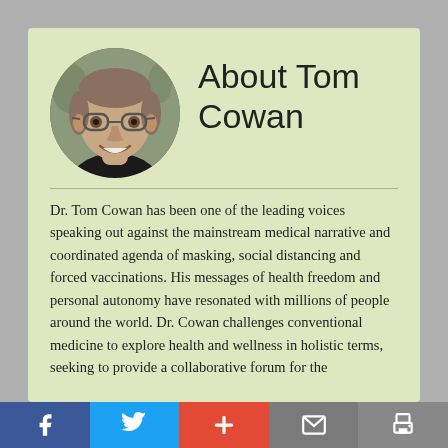[Figure (photo): Circular cropped photo of a middle-aged man with glasses, smiling, wearing a dark shirt]
About Tom Cowan
Dr. Tom Cowan has been one of the leading voices speaking out against the mainstream medical narrative and coordinated agenda of masking, social distancing and forced vaccinations. His messages of health freedom and personal autonomy have resonated with millions of people around the world. Dr. Cowan challenges conventional medicine to explore health and wellness in holistic terms, seeking to provide a collaborative forum for the